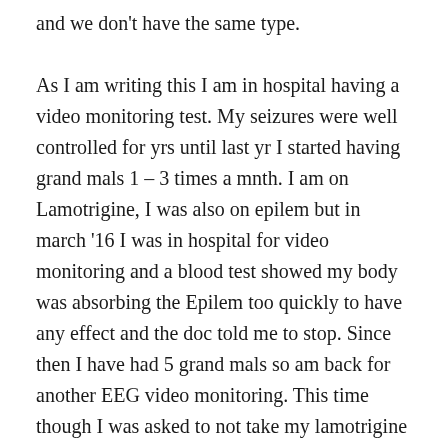and we don't have the same type. As I am writing this I am in hospital having a video monitoring test. My seizures were well controlled for yrs until last yr I started having grand mals 1 – 3 times a mnth. I am on Lamotrigine, I was also on epilem but in march '16 I was in hospital for video monitoring and a blood test showed my body was absorbing the Epilem too quickly to have any effect and the doc told me to stop. Since then I have had 5 grand mals so am back for another EEG video monitoring. This time though I was asked to not take my lamotrigine during my stay. I have had a seizure this afternoon and am hoping this will show my doc what's happening. Anyway, getting to my point; after reading your story I immediately felt you had written exactly what I feel and think. Reading your story has made